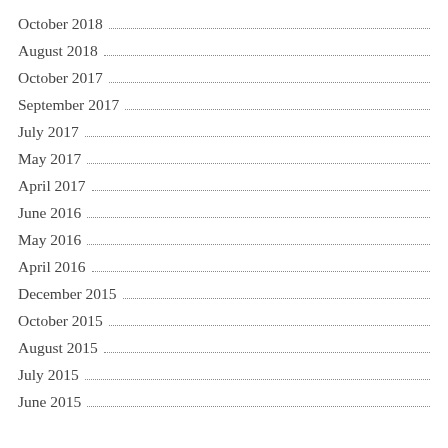October 2018
August 2018
October 2017
September 2017
July 2017
May 2017
April 2017
June 2016
May 2016
April 2016
December 2015
October 2015
August 2015
July 2015
June 2015